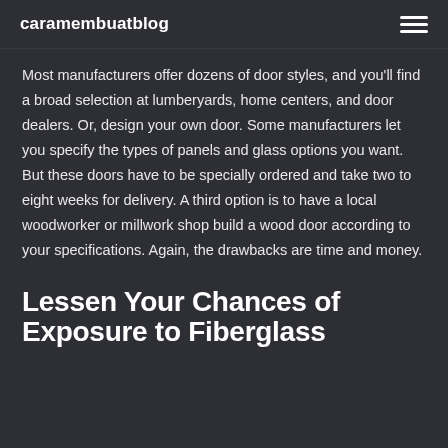caramembuatblog
Most manufacturers offer dozens of door styles, and you'll find a broad selection at lumberyards, home centers, and door dealers. Or, design your own door. Some manufacturers let you specify the types of panels and glass options you want. But these doors have to be specially ordered and take two to eight weeks for delivery. A third option is to have a local woodworker or millwork shop build a wood door according to your specifications. Again, the drawbacks are time and money.
Lessen Your Chances of Exposure to Fiberglass